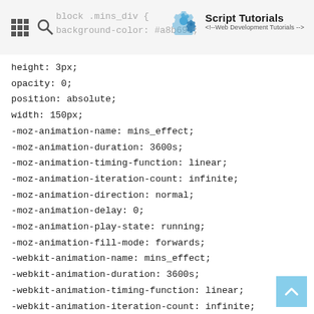Script Tutorials <!-- Web Development Tutorials -->
height: 3px;
opacity: 0;
position: absolute;
width: 150px;
-moz-animation-name: mins_effect;
-moz-animation-duration: 3600s;
-moz-animation-timing-function: linear;
-moz-animation-iteration-count: infinite;
-moz-animation-direction: normal;
-moz-animation-delay: 0;
-moz-animation-play-state: running;
-moz-animation-fill-mode: forwards;
-webkit-animation-name: mins_effect;
-webkit-animation-duration: 3600s;
-webkit-animation-timing-function: linear;
-webkit-animation-iteration-count: infinite;
-webkit-animation-direction: normal;
-webkit-animation-delay: 0;
-webkit-animation-play-state: running;